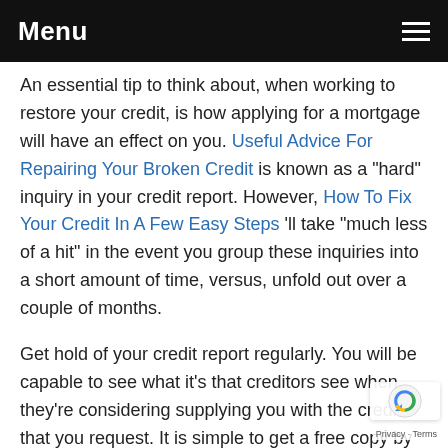Menu
An essential tip to think about, when working to restore your credit, is how applying for a mortgage will have an effect on you. Useful Advice For Repairing Your Broken Credit is known as a "hard" inquiry in your credit report. However, How To Fix Your Credit In A Few Easy Steps 'll take "much less of a hit" in the event you group these inquiries into a short amount of time, versus, unfold out over a couple of months.
Get hold of your credit report regularly. You will be capable to see what it's that creditors see when they're considering supplying you with the credit that you request. It is simple to get a free copy by doing a simple search on the internet. Take a few minutes to